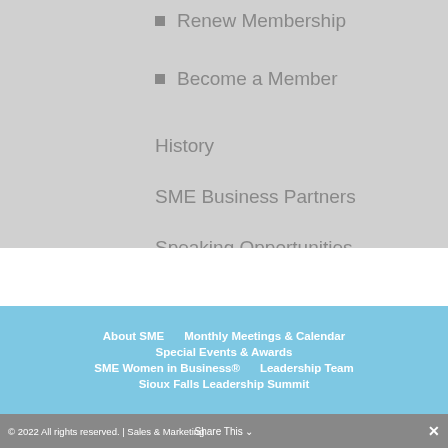Renew Membership
Become a Member
History
SME Business Partners
Speaking Opportunities
About SME  Monthly Meetings & Calendar  Special Events & Awards  SME Women in Business®  Leadership Team  Sioux Falls Leadership Summit
© 2022 All rights reserved. | Sales & Marketing  Share This  ✕